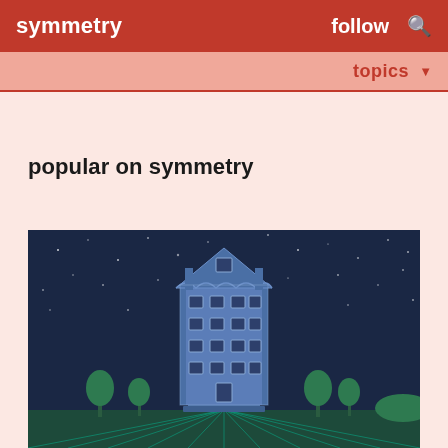symmetry   follow
topics
popular on symmetry
[Figure (illustration): Illustrated building/house at night with a starry dark blue sky background, green trees on either side, and teal glowing ground lines. The building is a multi-story blue structure with many windows arranged symmetrically.]